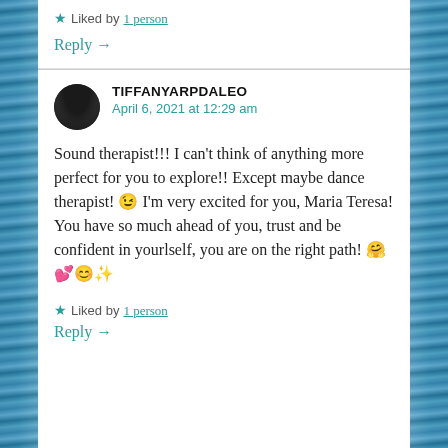★ Liked by 1 person
Reply →
TIFFANYARPDALEO
April 6, 2021 at 12:29 am
Sound therapist!!! I can't think of anything more perfect for you to explore!! Except maybe dance therapist! 😉 I'm very excited for you, Maria Teresa! You have so much ahead of you, trust and be confident in yourlself, you are on the right path! 🤗💕😊✨
★ Liked by 1 person
Reply →